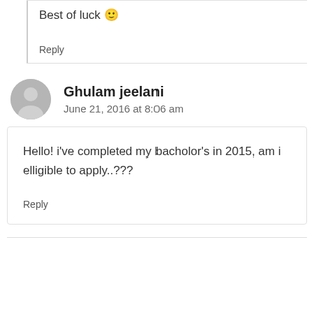Best of luck 🙂
Reply
Ghulam jeelani
June 21, 2016 at 8:06 am
Hello! i've completed my bacholor's in 2015, am i elligible to apply..???
Reply